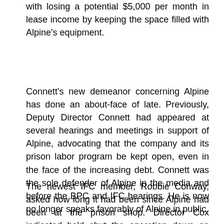with losing a potential $5,000 per month in lease income by keeping the space filled with Alpine's equipment.
Connett's new demeanor concerning Alpine has done an about-face of late. Previously, Deputy Director Connett had appeared at several hearings and meetings in support of Alpine, advocating that the company and its prison labor program be kept open, even in the face of the increasing debt. Connett was the sole defender of Alpine in the media and before the BPC and IFC hearings. He is now no longer speaks favorably of Alpine in public.
The newest IFC member, Robbie Conway, asked how long it had been since Alpine had been at the prison shop. Director Cox indicated he'd shut the operation down on December 23, 2012, but he did not confirm that Alpine had not been there after that date.